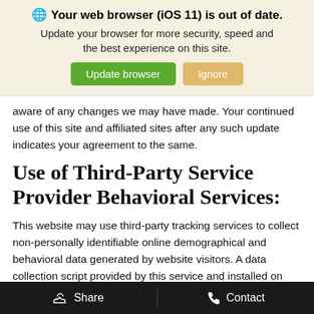[Figure (screenshot): Browser update notification banner with globe icon, bold title 'Your web browser (iOS 11) is out of date.', subtitle text, and two buttons: green 'Update browser' and tan 'Ignore']
aware of any changes we may have made. Your continued use of this site and affiliated sites after any such update indicates your agreement to the same.
Use of Third-Party Service Provider Behavioral Services:
This website may use third-party tracking services to collect non-personally identifiable online demographical and behavioral data generated by website visitors. A data collection script provided by this service and installed on this website may collect the following kinds of data: website session activity, including your personally identifiable information when entered into a form field such as name, phone, em... when you arrive at our website through a link containing a unique
Share   Contact